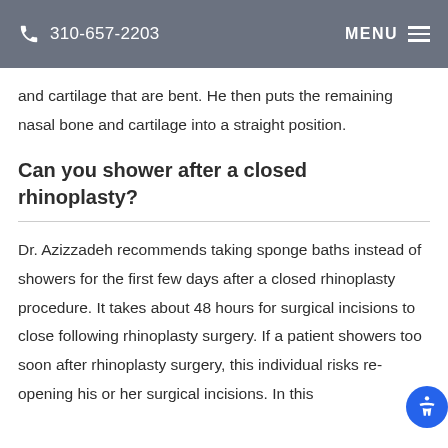310-657-2203   MENU
and cartilage that are bent. He then puts the remaining nasal bone and cartilage into a straight position.
Can you shower after a closed rhinoplasty?
Dr. Azizzadeh recommends taking sponge baths instead of showers for the first few days after a closed rhinoplasty procedure. It takes about 48 hours for surgical incisions to close following rhinoplasty surgery. If a patient showers too soon after rhinoplasty surgery, this individual risks re-opening his or her surgical incisions. In this